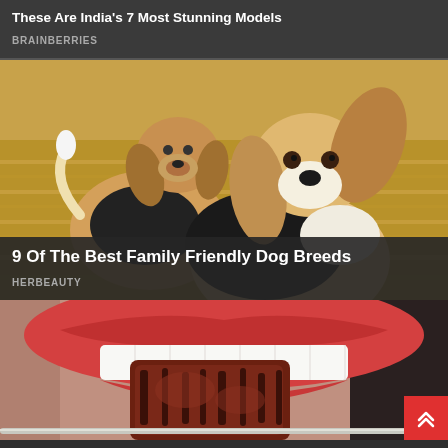These Are India's 7 Most Stunning Models
BRAINBERRIES
[Figure (photo): Two beagle dogs in a golden wheat field, one facing forward with large ears visible, one behind]
9 Of The Best Family Friendly Dog Breeds
HERBEAUTY
[Figure (photo): Close-up of person with red lipstick eating a piece of grilled meat on a skewer]